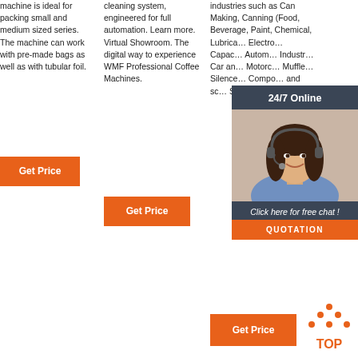machine is ideal for packing small and medium sized series. The machine can work with pre-made bags as well as with tubular foil.
Get Price
cleaning system, engineered for full automation. Learn more. Virtual Showroom. The digital way to experience WMF Professional Coffee Machines.
Get Price
industries such as Can Making, Canning (Food, Beverage, Paint, Chemical, Lubricants, Electronics), Capacitors, Automotive, Industrial, Car and Motorcycle Muffler / Silencer, Components and so on. Special Applications.
[Figure (photo): 24/7 Online chat overlay with woman wearing headset, click here for free chat button, and QUOTATION button]
Get Price